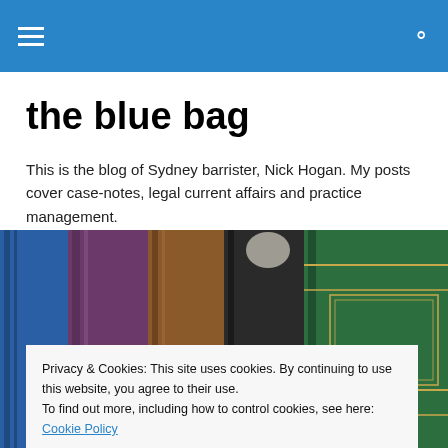[Navigation bar with hamburger menu and search icon]
the blue bag
This is the blog of Sydney barrister, Nick Hogan. My posts cover case-notes, legal current affairs and practice management.
[Figure (photo): Row of old leather-bound books spine-up, in colors including blue, purple, brown, black, and green with gold detailing]
Privacy & Cookies: This site uses cookies. By continuing to use this website, you agree to their use.
To find out more, including how to control cookies, see here: Cookie Policy
wiggle room on refusals